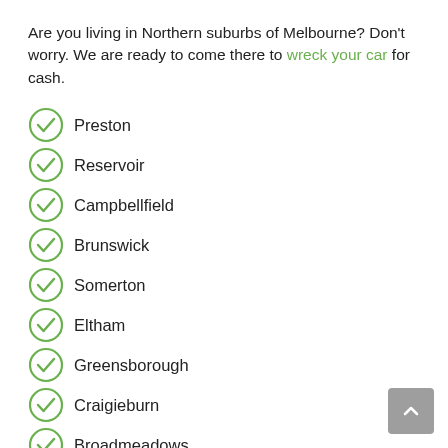Are you living in Northern suburbs of Melbourne? Don't worry. We are ready to come there to wreck your car for cash.
Preston
Reservoir
Campbellfield
Brunswick
Somerton
Eltham
Greensborough
Craigieburn
Broadmeadows